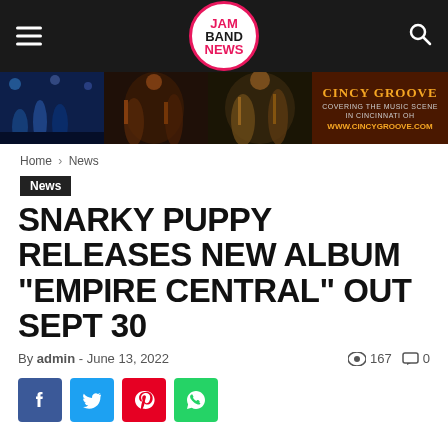JAM BAND NEWS
[Figure (photo): Banner with concert band photos and Cincy Groove advertisement]
Home › News
News
SNARKY PUPPY RELEASES NEW ALBUM "EMPIRE CENTRAL" OUT SEPT 30
By admin - June 13, 2022 · 167 views · 0 comments
[Figure (infographic): Social share buttons: Facebook, Twitter, Pinterest, WhatsApp]